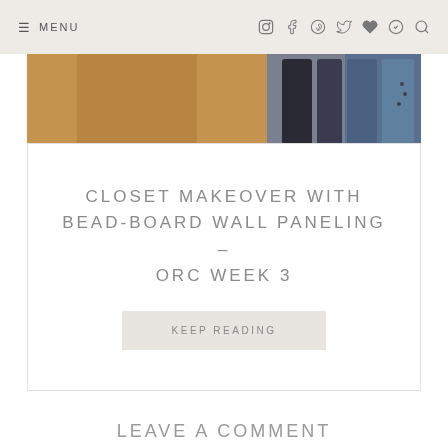≡ MENU
[Figure (photo): Partial view of a closet interior showing wood flooring and hanging clothes including denim and dark items]
CLOSET MAKEOVER WITH BEAD-BOARD WALL PANELING – ORC WEEK 3
KEEP READING
LEAVE A COMMENT